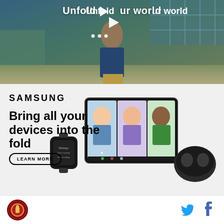[Figure (screenshot): Video thumbnail showing a man walking in a cafe/restaurant setting with text 'Unfold your world' and a play button overlay with dots below]
Unfold your world
[Figure (screenshot): Samsung advertisement showing the Samsung logo, headline 'Bring all your devices into the fold', a 'LEARN MORE' button, and product images of Samsung Galaxy Z Fold, Galaxy Watch, and Galaxy Buds]
SAMSUNG
Bring all your devices into the fold
LEARN MORE
[Figure (logo): Circular red and gold logo in footer]
[Figure (logo): Twitter bird icon in footer]
[Figure (logo): Facebook f icon in footer]